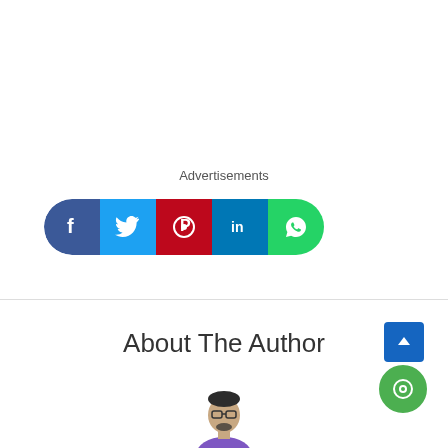Advertisements
[Figure (other): Social media share buttons bar with icons for Facebook, Twitter, Pinterest, LinkedIn, WhatsApp, and Reddit]
About The Author
[Figure (photo): Author photo showing a man with glasses wearing a purple shirt]
[Figure (other): UI buttons: scroll-to-top arrow button (blue square) and chat bubble button (green circle)]